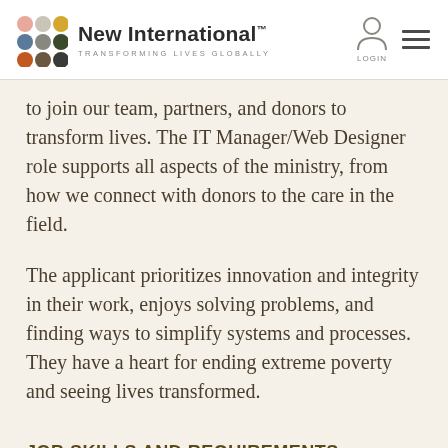[Figure (logo): New International logo with colored dots and tagline TRANSFORMING LIVES GLOBALLY, plus login icon and hamburger menu on the right]
to join our team, partners, and donors to transform lives. The IT Manager/Web Designer role supports all aspects of the ministry, from how we connect with donors to the care in the field.
The applicant prioritizes innovation and integrity in their work, enjoys solving problems, and finding ways to simplify systems and processes. They have a heart for ending extreme poverty and seeing lives transformed.
JOB SKILLS AND REQUIREMENTS: